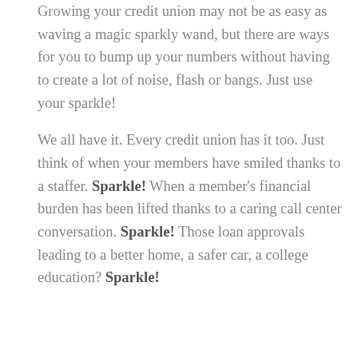Growing your credit union may not be as easy as waving a magic sparkly wand, but there are ways for you to bump up your numbers without having to create a lot of noise, flash or bangs. Just use your sparkle!

We all have it. Every credit union has it too. Just think of when your members have smiled thanks to a staffer. Sparkle! When a member's financial burden has been lifted thanks to a caring call center conversation. Sparkle! Those loan approvals leading to a better home, a safer car, a college education? Sparkle!